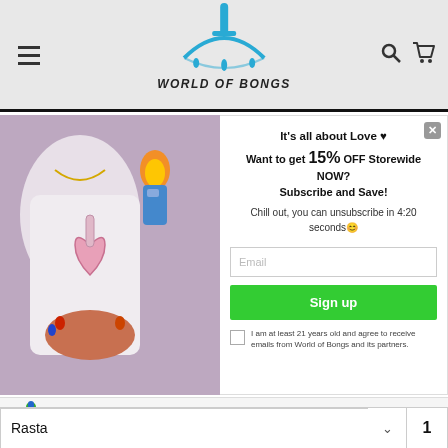WORLD OF BONGS
[Figure (photo): Woman holding a pink heart-shaped glass bong with lighter]
It's all about Love ♥
Want to get 15% OFF Storewide NOW? Subscribe and Save!
Chill out, you can unsubscribe in 4:20 seconds😊
Email
Sign up
I am at least 21 years old and agree to receive emails from World of Bongs and its partners.
[Figure (photo): 4 inch Glass Rasta Mini Bong product thumbnail]
4" Glass Rasta Mini Bong wi... $9.99 ★★★★★ (59) Add to cart
Rasta 1